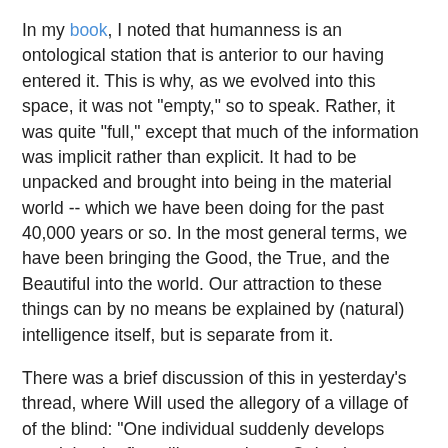In my book, I noted that humanness is an ontological station that is anterior to our having entered it. This is why, as we evolved into this space, it was not "empty," so to speak. Rather, it was quite "full," except that much of the information was implicit rather than explicit. It had to be unpacked and brought into being in the material world -- which we have been doing for the past 40,000 years or so. In the most general terms, we have been bringing the Good, the True, and the Beautiful into the world. Our attraction to these things can by no means be explained by (natural) intelligence itself, but is separate from it.
There was a brief discussion of this in yesterday's thread, where Will used the allegory of a village of of the blind: "One individual suddenly develops eyesight, the first villager to do so. Quite the revelation! This individual's spatial sense deepens beyond his previous imaginings. And the colors! He never knew they existed.
"Taking in the sky, he tries to explain the color blue to the villagers. In fact, he tries to explain the concept of sky to